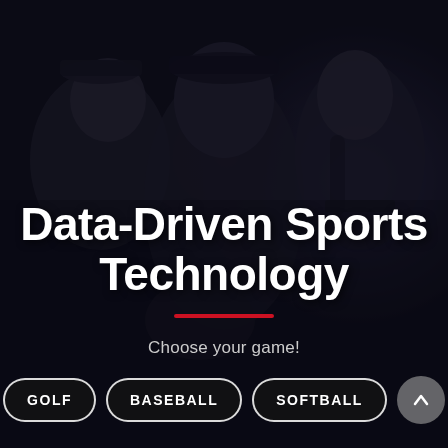[Figure (photo): Three athletes posing against a dark background: a young white male in a grey hoodie and white/black cap on the left, a Black male athlete in the center wearing a dark cap and holding a baseball glove, and a white female athlete in a black and white baseball jersey on the right.]
Data-Driven Sports Technology
Choose your game!
GOLF
BASEBALL
SOFTBALL